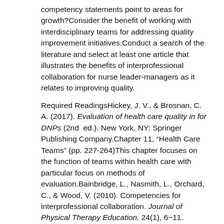competency statements point to areas for growth?Consider the benefit of working with interdisciplinary teams for addressing quality improvement initiatives.Conduct a search of the literature and select at least one article that illustrates the benefits of interprofessional collaboration for nurse leader-managers as it relates to improving quality.
Required ReadingsHickey, J. V., & Brosnan, C. A. (2017). Evaluation of health care quality in for DNPs (2nd ed.). New York, NY: Springer Publishing Company.Chapter 11, “Health Care Teams” (pp. 227-264)This chapter focuses on the function of teams within health care with particular focus on methods of evaluation.Bainbridge, L., Nasmith, L., Orchard, C., & Wood, V. (2010). Competencies for interprofessional collaboration. Journal of Physical Therapy Education, 24(1), 6−11. Retrieved from the Walden Library databases. The authors of this article put forth a competency framework for interprofessional collaboration that can be used by various stakeholders. The framework consists of six competencies and the authors also provide detailed descriptions of the associated skills each competency requires.Braithwaite, J., Westbrook, M., Nugus, P., Greenfield, D., Travaglia, J. Runciman, W. … Westbrook, J. (2012). A four-year, systems-wide intervention promoting interprofessional collaboration. BMC Health Services Research, 12(1), 99−